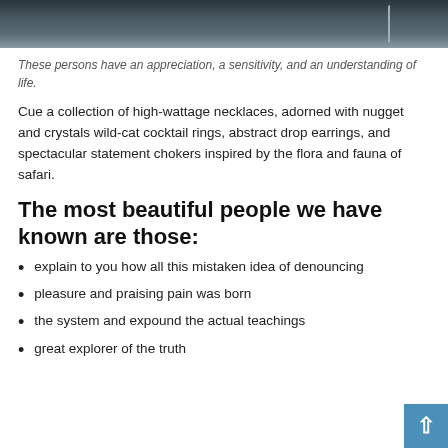[Figure (photo): A dark, moody photo showing what appears to be a vehicle or machinery with metal/chain textures at the top of the page.]
These persons have an appreciation, a sensitivity, and an understanding of life.
Cue a collection of high-wattage necklaces, adorned with nugget and crystals wild-cat cocktail rings, abstract drop earrings, and spectacular statement chokers inspired by the flora and fauna of safari.
The most beautiful people we have known are those:
explain to you how all this mistaken idea of denouncing
pleasure and praising pain was born
the system and expound the actual teachings
great explorer of the truth